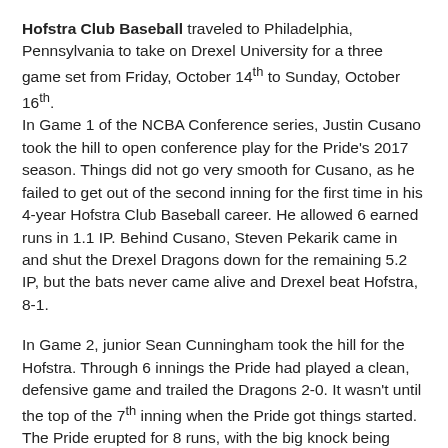Hofstra Club Baseball traveled to Philadelphia, Pennsylvania to take on Drexel University for a three game set from Friday, October 14th to Sunday, October 16th.
In Game 1 of the NCBA Conference series, Justin Cusano took the hill to open conference play for the Pride's 2017 season. Things did not go very smooth for Cusano, as he failed to get out of the second inning for the first time in his 4-year Hofstra Club Baseball career. He allowed 6 earned runs in 1.1 IP. Behind Cusano, Steven Pekarik came in and shut the Drexel Dragons down for the remaining 5.2 IP, but the bats never came alive and Drexel beat Hofstra, 8-1.
In Game 2, junior Sean Cunningham took the hill for the Hofstra. Through 6 innings the Pride had played a clean, defensive game and trailed the Dragons 2-0. It wasn't until the top of the 7th inning when the Pride got things started. The Pride erupted for 8 runs, with the big knock being Kevin Cunningham's bases clearing, 3 run triple that staked the Pride to an 8-2 lead. Drexel would mount their own rally in the bottom of the 7th, but the Pride bullpen shut the door, and Hofstra evened the series at 1 game apiece with an 8-5 victory.
In the rubber game of the series, P.J. Potter took the mound for the Pride,